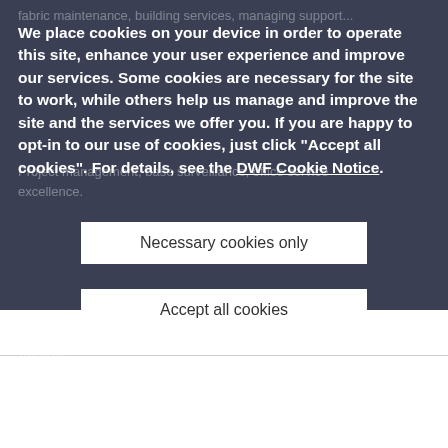We place cookies on your device in order to operate this site, enhance your user experience and improve our services. Some cookies are necessary for the site to work, while others help us manage and improve the site and the services we offer you. If you are happy to opt-in to our use of cookies, just click "Accept all cookies". For details, see the DWF Cookie Notice.
Necessary cookies only
Accept all cookies
+ Review our use of cookies and set your preferences
ACCESSIBILITY | MODERN SLAVERY STATEMENT | COOKIE POLICY | TERMS OF USE